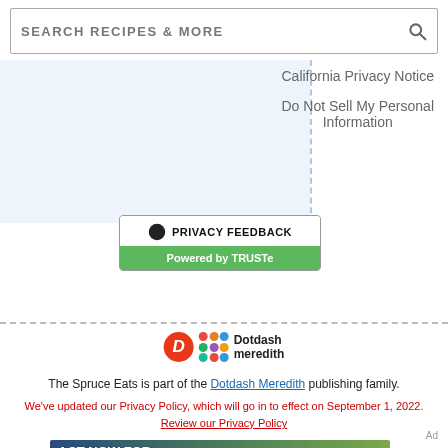SEARCH RECIPES & MORE
California Privacy Notice
Do Not Sell My Personal Information
[Figure (other): Privacy Feedback button powered by TRUSTe]
The Spruce Eats is part of the Dotdash Meredith publishing family.
We've updated our Privacy Policy, which will go in to effect on September 1, 2022. Review our Privacy Policy
Ad
[Figure (photo): ACT NOW FOR YELLOWSTONE BISON advertisement banner with bison photo]